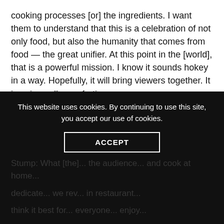cooking processes [or] the ingredients. I want them to understand that this is a celebration of not only food, but also the humanity that comes from food — the great unifier. At this point in the [world], that is a powerful mission. I know it sounds hokey in a way. Hopefully, it will bring viewers together. It is universally comforting.
Manske: Why are televised cooking shows and competitions so popular, even among people who do not cook at home or are not avid restaurant-goers?
Street food pizzazz on Episode 1.
This website uses cookies. By continuing to use this site, you accept our use of cookies.
ACCEPT